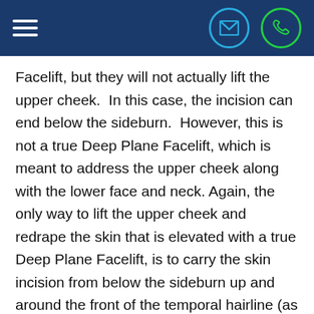[Navigation header with hamburger menu, email icon, and phone icon]
Facelift, but they will not actually lift the upper cheek.  In this case, the incision can end below the sideburn.  However, this is not a true Deep Plane Facelift, which is meant to address the upper cheek along with the lower face and neck.  Again, the only way to lift the upper cheek and redrape the skin that is elevated with a true Deep Plane Facelift, is to carry the skin incision from below the sideburn up and around the front of the temporal hairline (as demonstrated in the diagram titled “Deep Plane Facelift”).  There are tremendous variations in facelift surgery and hence, the results.  As an example, an Endoscopic Midface Lift can be performed in many different ways (based on extent of dissection, method of periosteal suspension, size of endoscopic